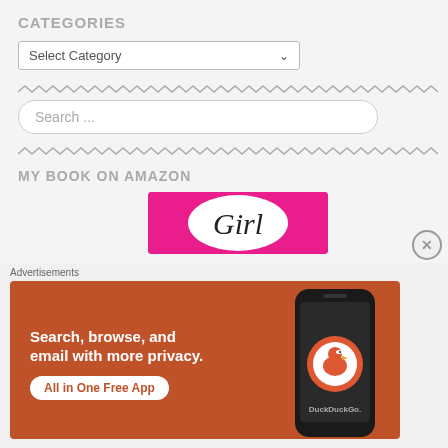CATEGORIES
Select Category
[Figure (other): Zigzag/wavy divider line]
Search ...
[Figure (other): Zigzag/wavy divider line]
MY BOOK ON AMAZON
[Figure (other): Book cover image with pink background showing text 'Girl']
Advertisements
[Figure (other): DuckDuckGo advertisement banner with orange background. Text: Search, browse, and email with more privacy. All in One Free App. Shows DuckDuckGo logo and phone.]